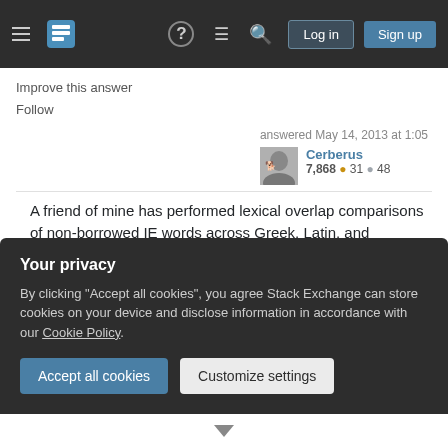Stack Exchange navigation bar with Log in and Sign up buttons
Improve this answer
Follow
answered May 14, 2013 at 1:05
Cerberus 7,868 • 31 • 48
A friend of mine has performed lexical overlap comparisons of non-borrowed IE words across Greek, Latin, and Sanskrit/Iranian, and Latin is a distant relative of Greek in this respect. Lexically, Greek is much closer to the Eastern IE families, such as Sanskrit. – Cosmas Zachos Jul 7, 2021 at 14:38 ✏
Your privacy
By clicking "Accept all cookies", you agree Stack Exchange can store cookies on your device and disclose information in accordance with our Cookie Policy.
Accept all cookies | Customize settings